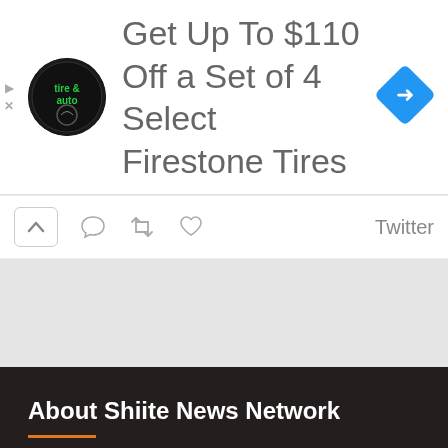[Figure (screenshot): Advertisement banner for Tire & Auto showing a circular black logo with green text, ad text reading 'Get Up To $110 Off a Set of 4 Select Firestone Tires', a blue diamond-shaped navigation icon on the right, and small play/close controls on the left.]
[Figure (screenshot): Twitter action bar with up chevron button in a rounded box, reply icon, retweet icon, like/heart icon, and 'Twitter' label text.]
About Shiite News Network